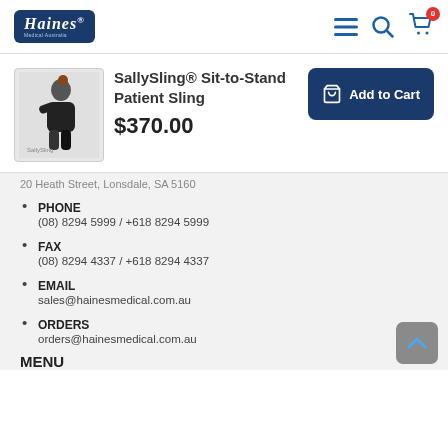[Figure (logo): Haines Medical Australia logo - dark blue rounded rectangle with white italic Haines text]
SallySling® Sit-to-Stand Patient Sling
$370.00
[Figure (photo): Product image of a person using the SallySling sit-to-stand sling]
20 Heath Street, Lonsdale, SA 5160
PHONE
(08) 8294 5999 / +618 8294 5999
FAX
(08) 8294 4337 / +618 8294 4337
EMAIL
sales@hainesmedical.com.au
ORDERS
orders@hainesmedical.com.au
MENU